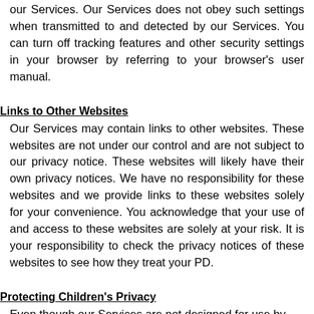our Services. Our Services does not obey such settings when transmitted to and detected by our Services. You can turn off tracking features and other security settings in your browser by referring to your browser's user manual.
Links to Other Websites
Our Services may contain links to other websites. These websites are not under our control and are not subject to our privacy notice. These websites will likely have their own privacy notices. We have no responsibility for these websites and we provide links to these websites solely for your convenience. You acknowledge that your use of and access to these websites are solely at your risk. It is your responsibility to check the privacy notices of these websites to see how they treat your PD.
Protecting Children's Privacy
Even though our Services are not designed for use by